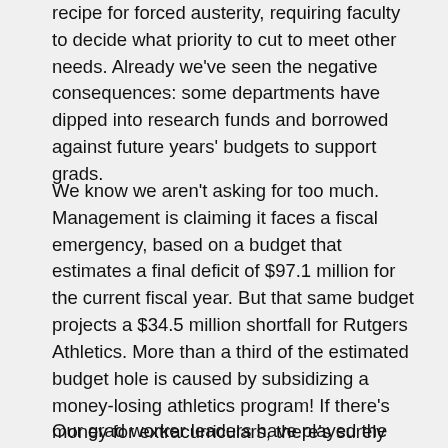recipe for forced austerity, requiring faculty to decide what priority to cut to meet other needs. Already we've seen the negative consequences: some departments have dipped into research funds and borrowed against future years' budgets to support grads.
We know we aren't asking for too much. Management is claiming it faces a fiscal emergency, based on a budget that estimates a final deficit of $97.1 million for the current fiscal year. But that same budget projects a $34.5 million shortfall for Rutgers Athletics. More than a third of the estimated budget hole is caused by subsidizing a money-losing athletics program! If there's money for extracurriculars, there's surely money for our central mission.
Our grad worker leaders have played the central role